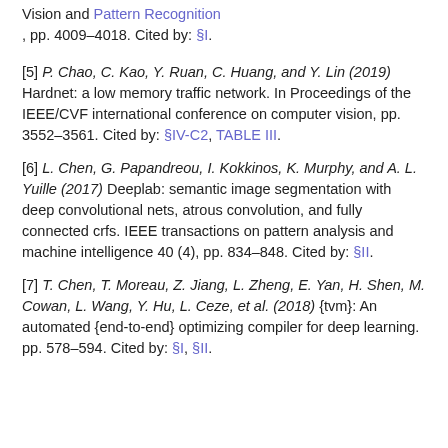Vision and Pattern Recognition, pp. 4009–4018. Cited by: §I.
[5] P. Chao, C. Kao, Y. Ruan, C. Huang, and Y. Lin (2019) Hardnet: a low memory traffic network. In Proceedings of the IEEE/CVF international conference on computer vision, pp. 3552–3561. Cited by: §IV-C2, TABLE III.
[6] L. Chen, G. Papandreou, I. Kokkinos, K. Murphy, and A. L. Yuille (2017) Deeplab: semantic image segmentation with deep convolutional nets, atrous convolution, and fully connected crfs. IEEE transactions on pattern analysis and machine intelligence 40 (4), pp. 834–848. Cited by: §II.
[7] T. Chen, T. Moreau, Z. Jiang, L. Zheng, E. Yan, H. Shen, M. Cowan, L. Wang, Y. Hu, L. Ceze, et al. (2018) {tvm}: An automated {end-to-end} optimizing compiler for deep learning. pp. 578–594. Cited by: §I, §II.